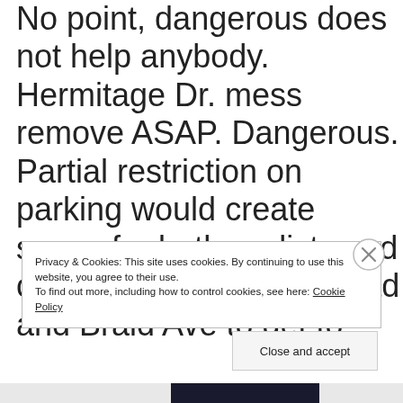No point, dangerous does not help anybody. Hermitage Dr. mess remove ASAP. Dangerous. Partial restriction on parking would create space for both cyclists and cars. I have used that road and Braid Ave to get to
Privacy & Cookies: This site uses cookies. By continuing to use this website, you agree to their use.
To find out more, including how to control cookies, see here: Cookie Policy
Close and accept